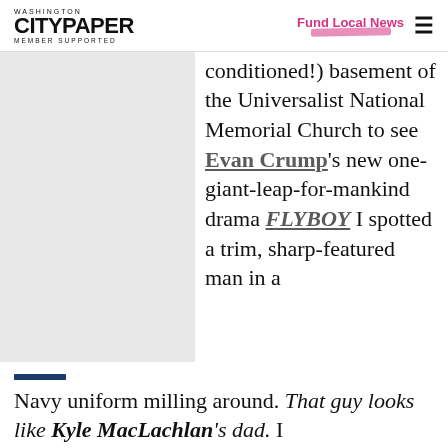Washington City Paper — Member Supported | Fund Local News
[Figure (photo): Partial image of a person or scene, cropped, left column of article]
conditioned!) basement of the Universalist National Memorial Church to see Evan Crump’s new one-giant-leap-for-mankind drama FLYBOY. I spotted a trim, sharp-featured man in a Navy uniform milling around. That guy looks like Kyle MacLachlan’s dad. I